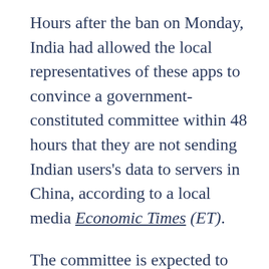Hours after the ban on Monday, India had allowed the local representatives of these apps to convince a government-constituted committee within 48 hours that they are not sending Indian users's data to servers in China, according to a local media Economic Times (ET).
The committee is expected to conduct a detailed inquiry into the data-sharing practices of these apps. Popular apps such as TikTok, Helo, Bigo Live, Likee, WeChat, CamScanner, and Shein, among others were debarred and consequently removed from Google Play and App stores in India.